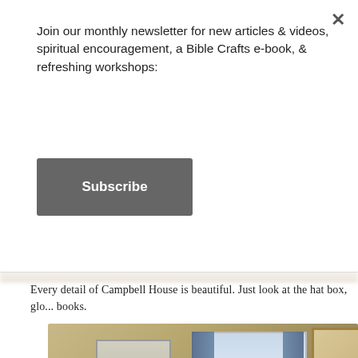Join our monthly newsletter for new articles & videos, spiritual encouragement, a Bible Crafts e-book, & refreshing workshops:
Subscribe
Every detail of Campbell House is beautiful. Just look at the hat box, glo... books.
[Figure (photo): Interior room of Campbell House showing wallpapered walls, fireplace, rocking chair, window with blue curtains, radiator, and mirror/dresser.]